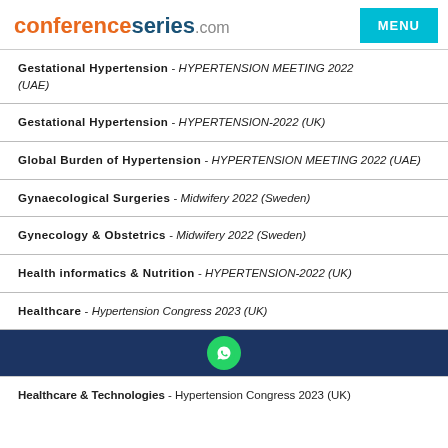conferenceseries.com
Gestational Hypertension - HYPERTENSION MEETING 2022 (UAE)
Gestational Hypertension - HYPERTENSION-2022 (UK)
Global Burden of Hypertension - HYPERTENSION MEETING 2022 (UAE)
Gynaecological Surgeries - Midwifery 2022 (Sweden)
Gynecology & Obstetrics - Midwifery 2022 (Sweden)
Health informatics & Nutrition - HYPERTENSION-2022 (UK)
Healthcare - Hypertension Congress 2023 (UK)
Healthcare & Technologies - Hypertension Congress 2023 (UK)